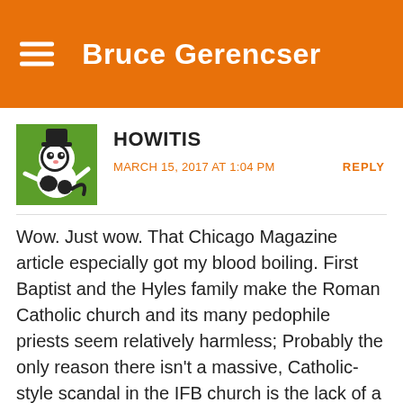Bruce Gerencser
HOWITIS
MARCH 15, 2017 AT 1:04 PM
REPLY
Wow. Just wow. That Chicago Magazine article especially got my blood boiling. First Baptist and the Hyles family make the Roman Catholic church and its many pedophile priests seem relatively harmless; Probably the only reason there isn't a massive, Catholic-style scandal in the IFB church is the lack of a